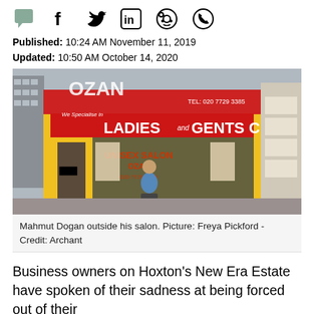[Figure (other): Social media sharing icons: speech bubble/comment, Facebook, Twitter, LinkedIn, Reddit, WhatsApp]
Published: 10:24 AM November 11, 2019
Updated: 10:50 AM October 14, 2020
[Figure (photo): Mahmut Dogan standing outside his Ozan Unisex Salon on a street, with yellow-framed shopfront and red sign reading 'We Specialise in LADIES and GENTS CUTS', TEL: 020 7729 3385]
Mahmut Dogan outside his salon. Picture: Freya Pickford - Credit: Archant
Business owners on Hoxton's New Era Estate have spoken of their sadness at being forced out of their